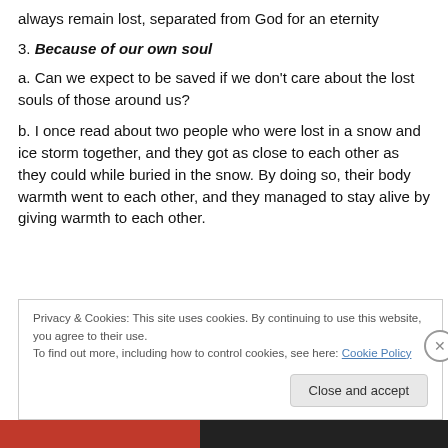always remain lost, separated from God for an eternity
3. Because of our own soul
a. Can we expect to be saved if we don't care about the lost souls of those around us?
b. I once read about two people who were lost in a snow and ice storm together, and they got as close to each other as they could while buried in the snow. By doing so, their body warmth went to each other, and they managed to stay alive by giving warmth to each other.
Privacy & Cookies: This site uses cookies. By continuing to use this website, you agree to their use. To find out more, including how to control cookies, see here: Cookie Policy
Close and accept